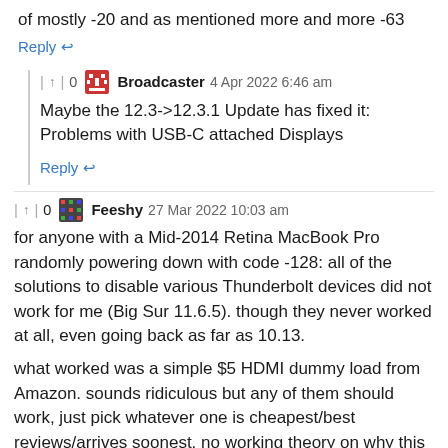of mostly -20 and as mentioned more and more -63
Reply ↩
↑ | 0   Broadcaster   4 Apr 2022 6:46 am
Maybe the 12.3->12.3.1 Update has fixed it: Problems with USB-C attached Displays
Reply ↩
↑ | 0   Feeshy   27 Mar 2022 10:03 am
for anyone with a Mid-2014 Retina MacBook Pro randomly powering down with code -128: all of the solutions to disable various Thunderbolt devices did not work for me (Big Sur 11.6.5). though they never worked at all, even going back as far as 10.13.
what worked was a simple $5 HDMI dummy load from Amazon. sounds ridiculous but any of them should work, just pick whatever one is cheapest/best reviews/arrives soonest. no working theory on why this works, other than it might be keeping a software process busy which otherwise